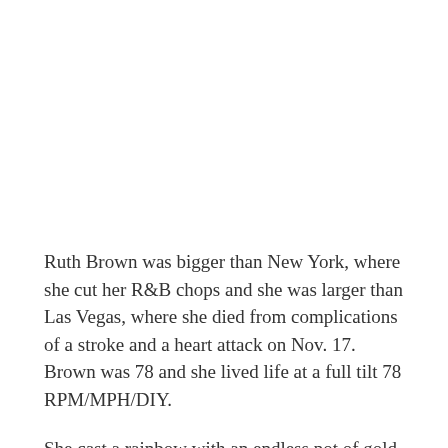Ruth Brown was bigger than New York, where she cut her R&B chops and she was larger than Las Vegas, where she died from complications of a stroke and a heart attack on Nov. 17. Brown was 78 and she lived life at a full tilt 78 RPM/MPH/DIY.
She cast a rainbow with an endless pot of gold.